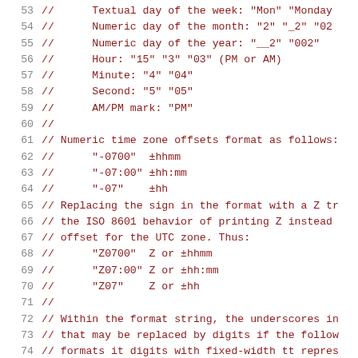53  //      Textual day of the week: "Mon" "Monday"
54  //      Numeric day of the month: "2" "_2" "02"
55  //      Numeric day of the year: "__2" "002"
56  //      Hour: "15" "3" "03" (PM or AM)
57  //      Minute: "4" "04"
58  //      Second: "5" "05"
59  //      AM/PM mark: "PM"
60  //
61  // Numeric time zone offsets format as follows:
62  //      "-0700"  ±hhmm
63  //      "-07:00" ±hh:mm
64  //      "-07"    ±hh
65  // Replacing the sign in the format with a Z tr
66  // the ISO 8601 behavior of printing Z instead
67  // offset for the UTC zone. Thus:
68  //      "Z0700"  Z or ±hhmm
69  //      "Z07:00" Z or ±hh:mm
70  //      "Z07"    Z or ±hh
71  //
72  // Within the format string, the underscores in
73  // that may be replaced by digits if the follow
74  // formats it digits with fixed-width tt repres